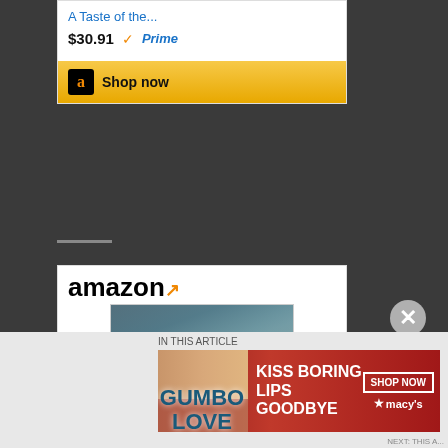[Figure (screenshot): Amazon product widget showing 'A Taste of the...' book priced at $30.91 with Prime badge and Shop Now button]
[Figure (screenshot): Amazon product widget showing 'Gumbo Love: Recipes for...' book with cover image priced at $17.79 and Shop Now button]
[Figure (screenshot): Macy's advertisement banner with 'KISS BORING LIPS GOODBYE' text and SHOP NOW button]